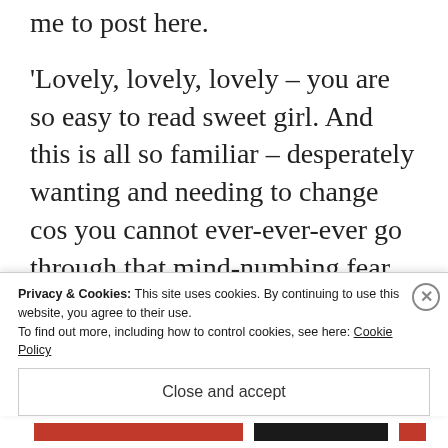me to post here.
‘Lovely, lovely, lovely – you are so easy to read sweet girl. And this is all so familiar – desperately wanting and needing to change cos you cannot ever-ever-ever go through that mind-numbing fear again. But my Charlie used to say, “It’s only life Katy”, and over the years one learns that the stress of being ill is far more than the stress of being
Privacy & Cookies: This site uses cookies. By continuing to use this website, you agree to their use.
To find out more, including how to control cookies, see here: Cookie Policy
Close and accept